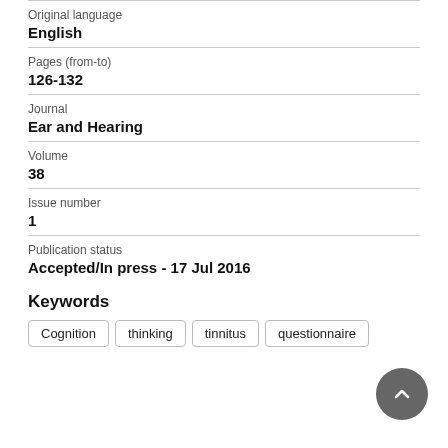| Original language | English |
| Pages (from-to) | 126-132 |
| Journal | Ear and Hearing |
| Volume | 38 |
| Issue number | 1 |
| Publication status | Accepted/In press - 17 Jul 2016 |
Keywords
Cognition  thinking  tinnitus  questionnaire